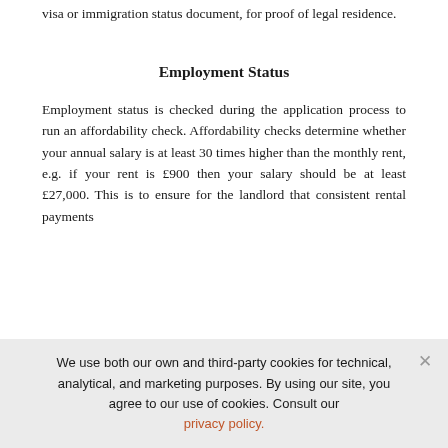visa or immigration status document, for proof of legal residence.
Employment Status
Employment status is checked during the application process to run an affordability check. Affordability checks determine whether your annual salary is at least 30 times higher than the monthly rent, e.g. if your rent is £900 then your salary should be at least £27,000. This is to ensure for the landlord that consistent rental payments
We use both our own and third-party cookies for technical, analytical, and marketing purposes. By using our site, you agree to our use of cookies. Consult our privacy policy.